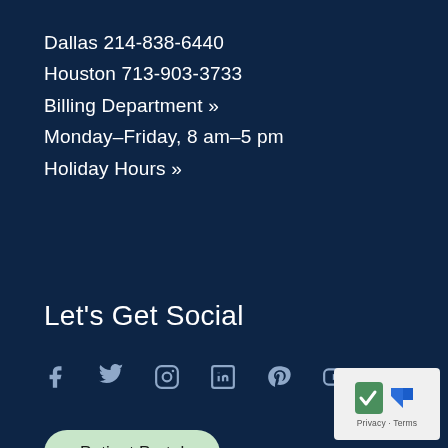Dallas 214-838-6440
Houston 713-903-3733
Billing Department »
Monday–Friday, 8 am–5 pm
Holiday Hours »
Let's Get Social
[Figure (infographic): Social media icons: Facebook, Twitter, Instagram, LinkedIn, Pinterest, YouTube]
Patient Portal
[Figure (other): reCAPTCHA badge with Privacy and Terms links]